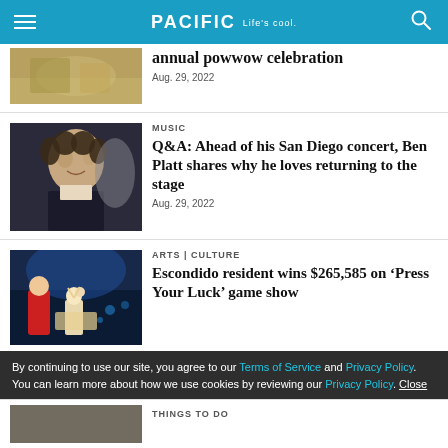PACIFIC Life's cool
[Figure (photo): Partial view of annual powwow celebration article thumbnail]
annual powwow celebration
Aug. 29, 2022
[Figure (photo): Photo of Ben Platt at event, wearing black suit]
MUSIC
Q&A: Ahead of his San Diego concert, Ben Platt shares why he loves returning to the stage
Aug. 29, 2022
[Figure (photo): Photo from Press Your Luck game show, woman in red dress on stage]
ARTS | CULTURE
Escondido resident wins $265,585 on ‘Press Your Luck’ game show
By continuing to use our site, you agree to our Terms of Service and Privacy Policy. You can learn more about how we use cookies by reviewing our Privacy Policy. Close
THINGS TO DO